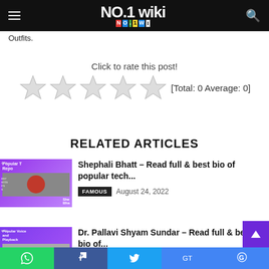NO.1 wiki
Outfits.
Click to rate this post!
[Figure (other): Five empty star rating icons followed by [Total: 0 Average: 0]]
RELATED ARTICLES
[Figure (photo): Thumbnail for Shephali Bhatt article - purple background with text Popular Tech Reporter and photo]
Shephali Bhatt – Read full & best bio of popular tech...
FAMOUS   August 24, 2022
[Figure (photo): Thumbnail for Dr. Pallavi Shyam Sundar article - purple background with text Popular Voice and Playback]
Dr. Pallavi Shyam Sundar – Read full & best bio of...
WhatsApp  Facebook  Twitter  Google Translate  Google